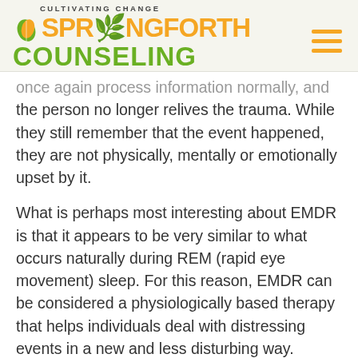[Figure (logo): Springforth Counseling logo with orange and green lettering, leaf graphic, and 'CULTIVATING CHANGE' tagline]
once again process information normally, and the person no longer relives the trauma. While they still remember that the event happened, they are not physically, mentally or emotionally upset by it.
What is perhaps most interesting about EMDR is that it appears to be very similar to what occurs naturally during REM (rapid eye movement) sleep. For this reason, EMDR can be considered a physiologically based therapy that helps individuals deal with distressing events in a new and less disturbing way.